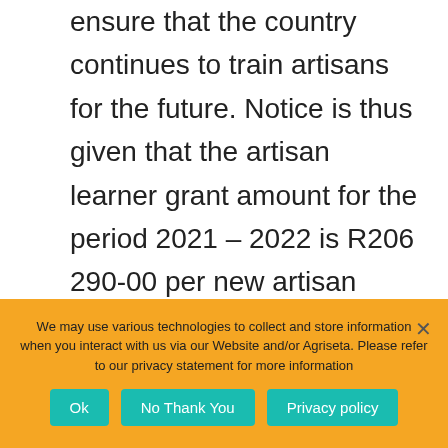ensure that the country continues to train artisans for the future. Notice is thus given that the artisan learner grant amount for the period 2021 – 2022 is R206 290-00 per new artisan apprentice enrolled. The revised artisan apprentice grant amount is effective as of 1 April 2021. This
We may use various technologies to collect and store information when you interact with us via our Website and/or Agriseta. Please refer to our privacy statement for more information